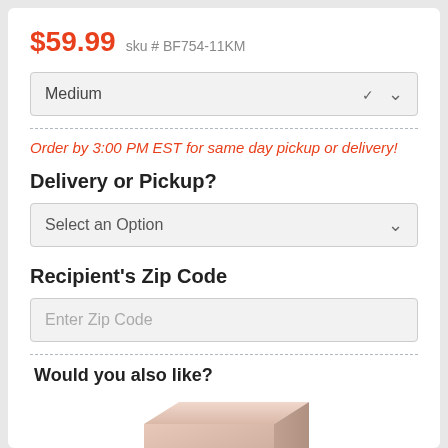$59.99  sku # BF754-11KM
[Figure (screenshot): Dropdown selector showing 'Medium' with a chevron arrow on the right, styled as a light gray rounded rectangle input]
Order by 3:00 PM EST for same day pickup or delivery!
Delivery or Pickup?
[Figure (screenshot): Dropdown selector showing 'Select an Option' with a chevron arrow on the right, styled as a light gray rounded rectangle input]
Recipient's Zip Code
[Figure (screenshot): Text input field with placeholder text 'Enter Zip Code', styled as a light gray rounded rectangle]
Would you also like?
[Figure (photo): Partial view of a light pink/beige gift box photographed from a slightly elevated angle, cropped at bottom of page]